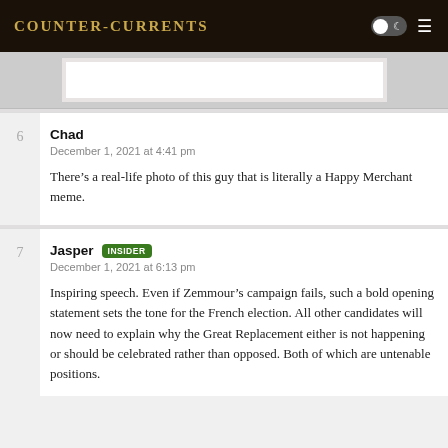Counter-Currents
[Figure (photo): Partial image strip visible at top of content area, appears to be a white-bordered photo on a light gray background]
Chad
December 1, 2021 at 4:41 pm

There’s a real-life photo of this guy that is literally a Happy Merchant meme.
Jasper [INSIDER]
December 1, 2021 at 6:13 pm

Inspiring speech. Even if Zemmour’s campaign fails, such a bold opening statement sets the tone for the French election. All other candidates will now need to explain why the Great Replacement either is not happening or should be celebrated rather than opposed. Both of which are untenable positions.